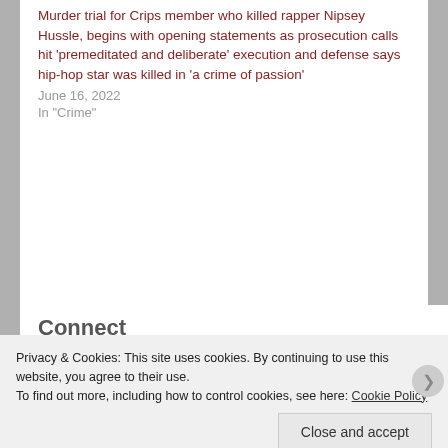Murder trial for Crips member who killed rapper Nipsey Hussle, begins with opening statements as prosecution calls hit 'premeditated and deliberate' execution and defense says hip-hop star was killed in 'a crime of passion'
June 16, 2022
In "Crime"
Connect
Privacy & Cookies: This site uses cookies. By continuing to use this website, you agree to their use.
To find out more, including how to control cookies, see here: Cookie Policy